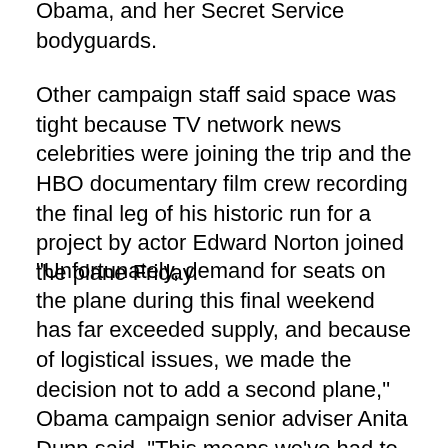Obama, and her Secret Service bodyguards.
Other campaign staff said space was tight because TV network news celebrities were joining the trip and the HBO documentary film crew recording the final leg of his historic run for a project by actor Edward Norton joined the plane Friday.
"Unfortunately, demand for seats on the plane during this final weekend has far exceeded supply, and because of logistical issues, we made the decision not to add a second plane," Obama campaign senior adviser Anita Dunn said. "This means we've had to make hard and unpleasant for all concerned decisions about limiting some news organizations and in some cases not being in a position to offer space to news organizations altogether."
The campaign said The Times reporter will be off the plane as of Sunday. Separately, the